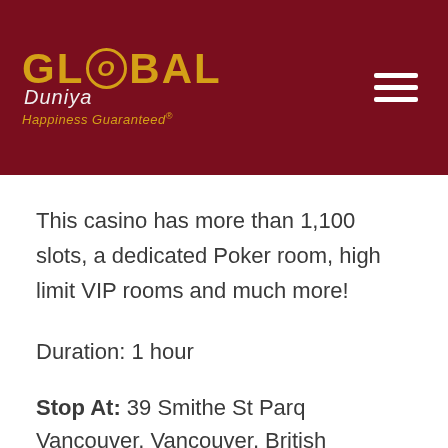[Figure (logo): Global Duniya logo with golden text on dark red background, with hamburger menu icon on the right. Text reads 'GLOBAL Duniya Happiness Guaranteed']
This casino has more than 1,100 slots, a dedicated Poker room, high limit VIP rooms and much more!
Duration: 1 hour
Stop At: 39 Smithe St Parq Vancouver, Vancouver, British Columbia V6B 0R3